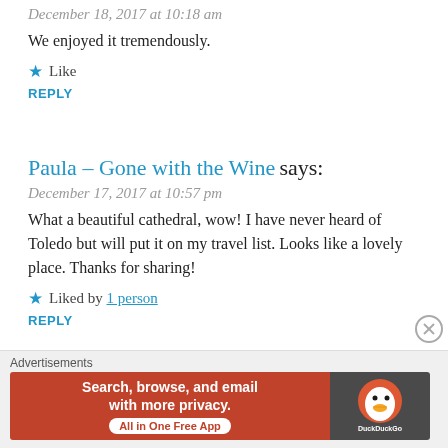December 18, 2017 at 10:18 am
We enjoyed it tremendously.
★ Like
REPLY
Paula – Gone with the Wine says:
December 17, 2017 at 10:57 pm
What a beautiful cathedral, wow! I have never heard of Toledo but will put it on my travel list. Looks like a lovely place. Thanks for sharing!
★ Liked by 1 person
REPLY
100cobbledroads says:
Advertisements
[Figure (other): DuckDuckGo advertisement banner: 'Search, browse, and email with more privacy. All in One Free App' with DuckDuckGo logo on dark background]